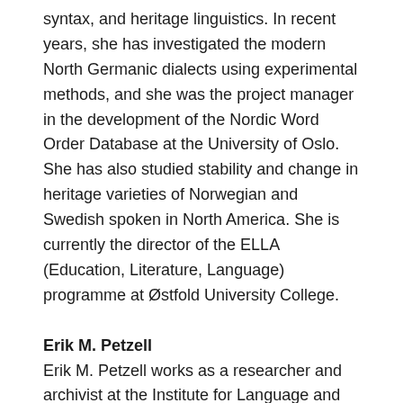syntax, and heritage linguistics. In recent years, she has investigated the modern North Germanic dialects using experimental methods, and she was the project manager in the development of the Nordic Word Order Database at the University of Oslo. She has also studied stability and change in heritage varieties of Norwegian and Swedish spoken in North America. She is currently the director of the ELLA (Education, Literature, Language) programme at Østfold University College.
Erik M. Petzell
Erik M. Petzell works as a researcher and archivist at the Institute for Language and Folklore in Gothenburg, and is an associate professor of Scandinavian languages at Stockholm University. His research interests include historical linguistics, word order change, coordinate asymmetries, clitics, language contact, poetic language. In the past, his primary focus has been on Old and Early Modern Swedish. In recent years, his empirical orientation has shifted to the dialects of the Swedish southwest, and he is currently working with AI-aided cultivation of handwritten dialect